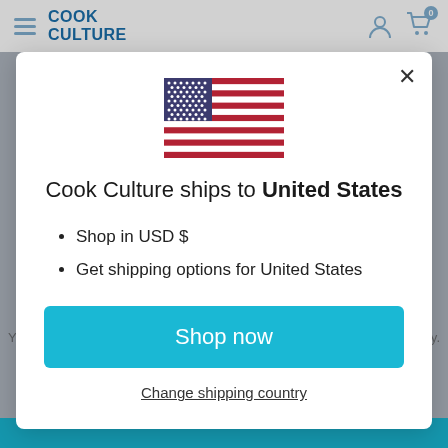[Figure (screenshot): Cook Culture website header with hamburger menu, logo, user icon and shopping cart with 0 items]
[Figure (illustration): United States flag SVG illustration]
Cook Culture ships to United States
Shop in USD $
Get shipping options for United States
Shop now
Change shipping country